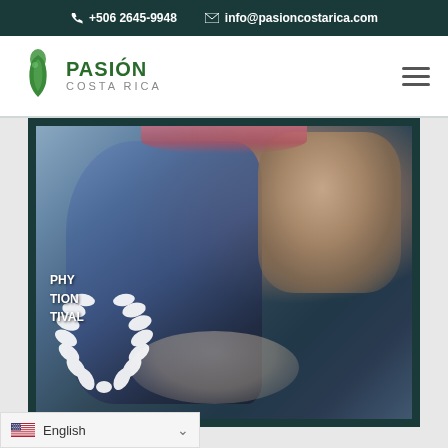+506 2645-9948   info@pasioncostarica.com
[Figure (logo): Pasión Costa Rica logo with green bird/footprint icon and text PASIÓN COSTA RICA]
[Figure (photo): Close-up blurred photo of a person wearing a pink hat and blue jacket, with a laurel wreath overlay and festival text (PHY, TION, TIVAL) in lower left corner]
English